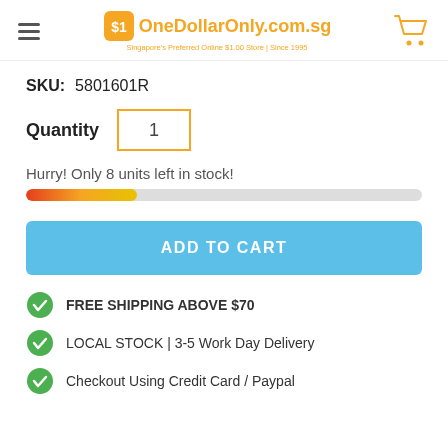OneDollarOnly.com.sg — Singapore's Preferred Online $1.00 Store | Since 1995
SKU: 5801601R
Quantity 1
Hurry! Only 8 units left in stock!
[Figure (infographic): A progress bar showing stock level, filled approximately 28% with a red-to-orange-to-yellow gradient on a gray background.]
ADD TO CART
FREE SHIPPING ABOVE $70
LOCAL STOCK | 3-5 Work Day Delivery
Checkout Using Credit Card / Paypal